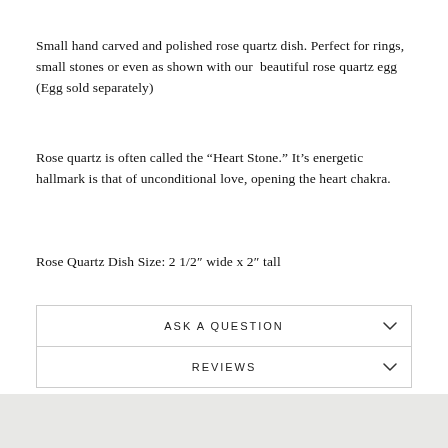Small hand carved and polished rose quartz dish. Perfect for rings, small stones or even as shown with our  beautiful rose quartz egg (Egg sold separately)
Rose quartz is often called the “Heart Stone.” It's energetic hallmark is that of unconditional love, opening the heart chakra.
Rose Quartz Dish Size: 2 1/2″ wide x 2″ tall
ASK A QUESTION
REVIEWS
Share   Tweet   Pin it